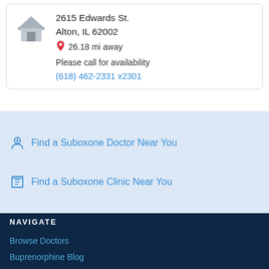2615 Edwards St.
Alton, IL 62002
26.18 mi away
Please call for availability
(618) 462-2331 x2301
Find a Suboxone Doctor Near You
Find a Suboxone Clinic Near You
NAVIGATE
Browse Doctors
Buprenorphine Blog